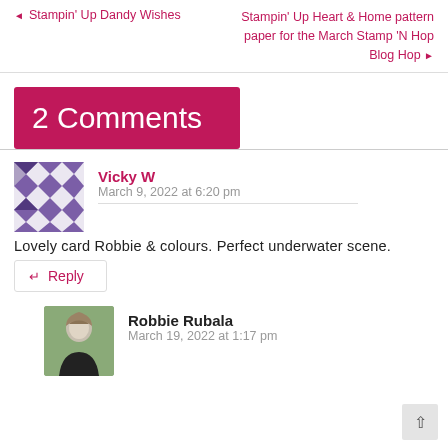◄ Stampin' Up Dandy Wishes | Stampin' Up Heart & Home pattern paper for the March Stamp 'N Hop Blog Hop ►
2 Comments
Vicky W
March 9, 2022 at 6:20 pm
Lovely card Robbie & colours. Perfect underwater scene.
← Reply
Robbie Rubala
March 19, 2022 at 1:17 pm